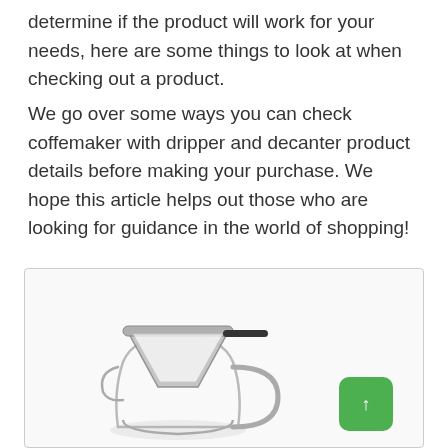determine if the product will work for your needs, here are some things to look at when checking out a product.
We go over some ways you can check coffemaker with dripper and decanter product details before making your purchase. We hope this article helps out those who are looking for guidance in the world of shopping!
[Figure (photo): A glass coffemaker with a cone-shaped metal dripper/filter sitting on top of a glass decanter with a handle, shown partially at the bottom of the page.]